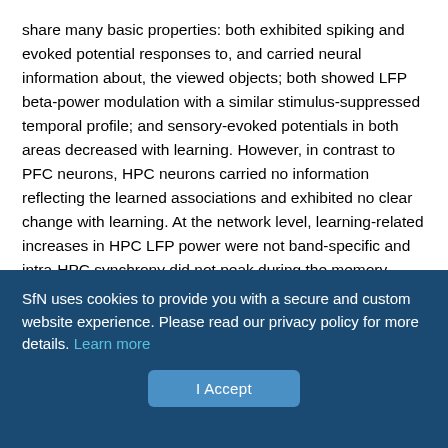share many basic properties: both exhibited spiking and evoked potential responses to, and carried neural information about, the viewed objects; both showed LFP beta-power modulation with a similar stimulus-suppressed temporal profile; and sensory-evoked potentials in both areas decreased with learning. However, in contrast to PFC neurons, HPC neurons carried no information reflecting the learned associations and exhibited no clear change with learning. At the network level, learning-related increases in HPC LFP power were not band-specific and intra-HPC synchrony did not peak during the memory delay or increase with learning. We hypothesize that these network-level signatures may be secondary biomarkers of brain regions with explicit involvement in a learning task. The lack of explicit HPC involvement in our task is in line with
SfN uses cookies to provide you with a secure and custom website experience. Please read our privacy policy for more details. Learn more